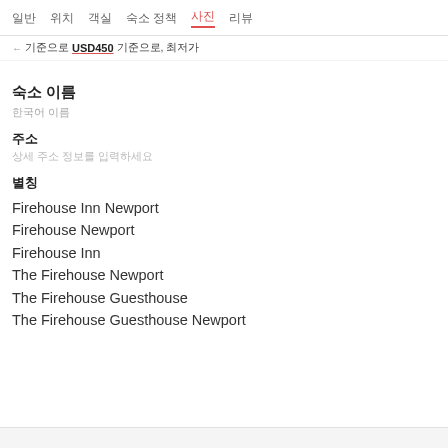일반  |  위치  |  객실  |  숙소 정책  |  사진  |  리뷰
← USD450 기준으로, 최저가
숙소 이름
한국어 이름
주소
상세 주소 정보를 입력하세요
별칭
Firehouse Inn Newport
Firehouse Newport
Firehouse Inn
The Firehouse Newport
The Firehouse Guesthouse
The Firehouse Guesthouse Newport